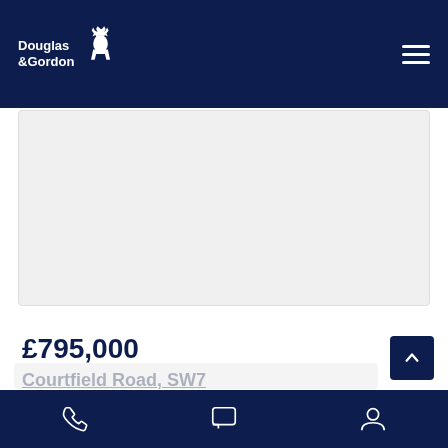Douglas & Gordon
[Figure (photo): Property listing image placeholder - light grey rectangle]
£795,000
Courtfield Road, SW7
150m (1 mins) from Gloucester Road.
1 bedroom, 1 bathroom, 1 reception
Phone, Chat, Account navigation icons